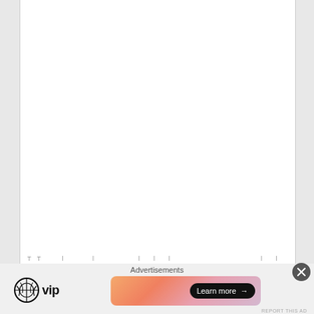[Figure (screenshot): Large white document/article area taking up most of the page, with a partially visible line of text at the bottom edge]
Advertisements
[Figure (logo): WordPress VIP logo: WordPress circular logo mark followed by 'vip' text in bold]
[Figure (infographic): Advertisement banner with gradient background (orange to pink/purple) containing a 'Learn more →' button in a dark rounded pill]
[Figure (other): X (close) button circle in dark gray at top-right of ad section]
REPORT THIS AD